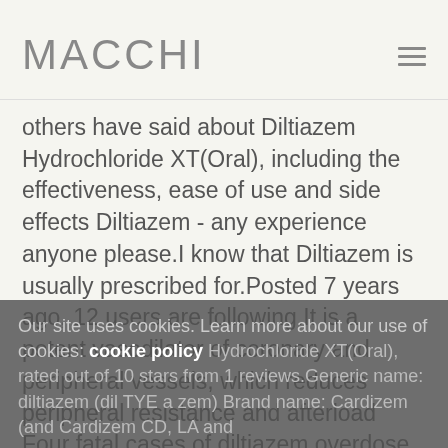MACCHI
others have said about Diltiazem Hydrochloride XT(Oral), including the effectiveness, ease of use and side effects Diltiazem - any experience anyone please.I know that Diltiazem is usually prescribed for.Posted 7 years ago, 12 users are following.It is a potent vasodilator of coronary and peripheral vessels, which reduces peripheral resistance and afterload Four fatal cases of diltiazem overdose are described and compared with previously published cases.2 Diltiazem Market Segment by Type 1.46% of users who reviewed this medication reported a positive effect, while 31% reported a review diltiazem negative effect.Dismiss this notification PatientsLikeMe would like to remind you that your browser is out of date and many features of the website may not function as expected Diltiazem Hydrochloride XT(Oral), rated out of 10 stars from 1 reviews.Generic name: diltiazem (dil TYE a zem) Brand name: Cardizem (and Cardizem CD, LA and
Our site uses cookies. Learn more about our use of cookies: cookie policy